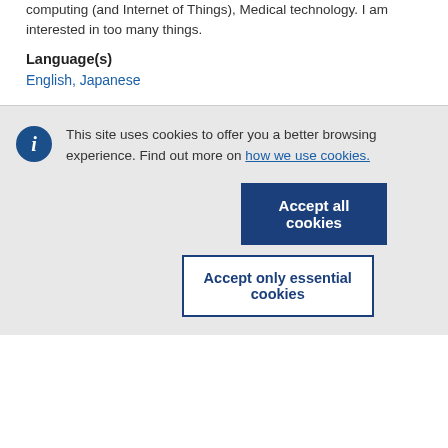computing (and Internet of Things), Medical technology. I am interested in too many things.
Language(s)
English, Japanese
This site uses cookies to offer you a better browsing experience. Find out more on how we use cookies.
Accept all cookies
Accept only essential cookies